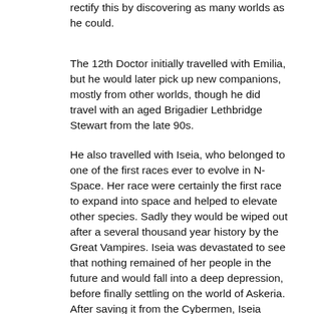rectify this by discovering as many worlds as he could.
The 12th Doctor initially travelled with Emilia, but he would later pick up new companions, mostly from other worlds, though he did travel with an aged Brigadier Lethbridge Stewart from the late 90s.
He also travelled with Iseia, who belonged to one of the first races ever to evolve in N-Space. Her race were certainly the first race to expand into space and helped to elevate other species. Sadly they would be wiped out after a several thousand year history by the Great Vampires. Iseia was devastated to see that nothing remained of her people in the future and would fall into a deep depression, before finally settling on the world of Askeria. After saving it from the Cybermen, Iseia hoped she could help its people recover and ensure that her people's legacy would live on through them.
The 12th Doctors archenemies were the Cybermen, who he faced more than any other incarnation, and the hideous interdimensional beasts known as the Crevals.